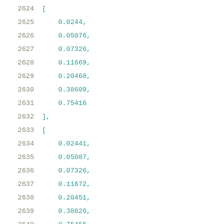2624    [
2625        0.0244,
2626        0.05076,
2627        0.07326,
2628        0.11669,
2629        0.20468,
2630        0.38609,
2631        0.75416
2632    ],
2633    [
2634        0.02441,
2635        0.05087,
2636        0.07326,
2637        0.11672,
2638        0.20451,
2639        0.38626,
2640        0.75455
2641    ],
2642    [
2643        0.0244,
2644        0.05079,
2645        0.07326,